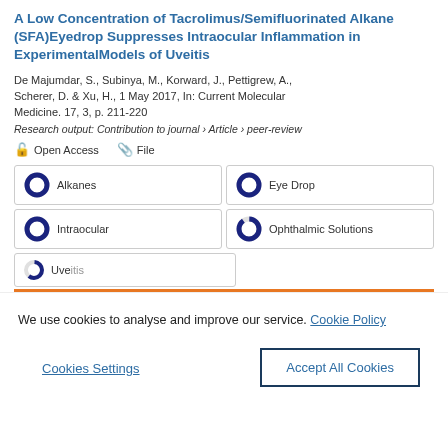A Low Concentration of Tacrolimus/Semifluorinated Alkane (SFA)Eyedrop Suppresses Intraocular Inflammation in ExperimentalModels of Uveitis
De Majumdar, S., Subinya, M., Korward, J., Pettigrew, A., Scherer, D. & Xu, H., 1 May 2017, In: Current Molecular Medicine. 17, 3, p. 211-220
Research output: Contribution to journal › Article › peer-review
Open Access   File
Alkanes
Eye Drop
Intraocular
Ophthalmic Solutions
We use cookies to analyse and improve our service. Cookie Policy
Cookies Settings
Accept All Cookies